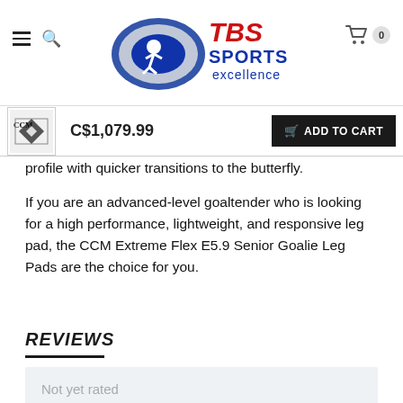TBS Sports excellence - navigation header with hamburger menu, search, logo, and cart (0 items)
C$1,079.99
ADD TO CART
profile with quicker transitions to the butterfly.
If you are an advanced-level goaltender who is looking for a high performance, lightweight, and responsive leg pad, the CCM Extreme Flex E5.9 Senior Goalie Leg Pads are the choice for you.
REVIEWS
Not yet rated
0 stars based on 0 reviews